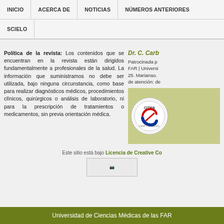INICIO | ACERCA DE | NOTICIAS | NÚMEROS ANTERIORES | SCIELO
Política de la revista: Los contenidos que se encuentran en la revista están dirigidos fundamentalmente a profesionales de la salud. La información que suministramos no debe ser utilizada, bajo ninguna circunstancia, como base para realizar diagnósticos médicos, procedimientos clínicos, quirúrgicos o análisis de laboratorio, ni para la prescripción de tratamientos o medicamentos, sin previa orientación médica.
Dr. C. Car... Patrocinada p... FAR | Universi... 25. Marianao. de atención: de...
[Figure (logo): CITMA Certificado circular logo with red and blue stylized design]
Este sitio está bajo Licencia de Creative Co...
[Figure (illustration): Creative Commons license image placeholder]
Universidad de Ciencias Médicas de las FAR